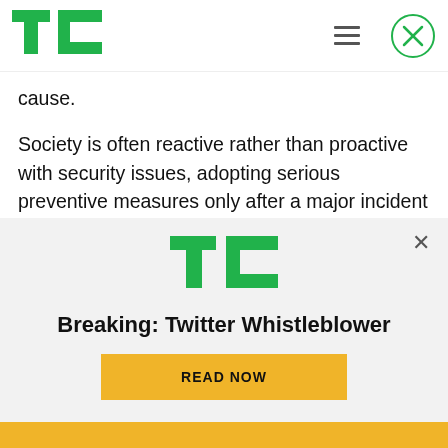TechCrunch logo with hamburger menu and close button
cause.
Society is often reactive rather than proactive with security issues, adopting serious preventive measures only after a major incident has occurred. Hopefully that pattern will not be repeated here. The good news is that automakers, startups and government regulators are all beginning to focus on the issue and take action to address it.
[Figure (logo): TechCrunch TC logo in green]
Breaking: Twitter Whistleblower
READ NOW